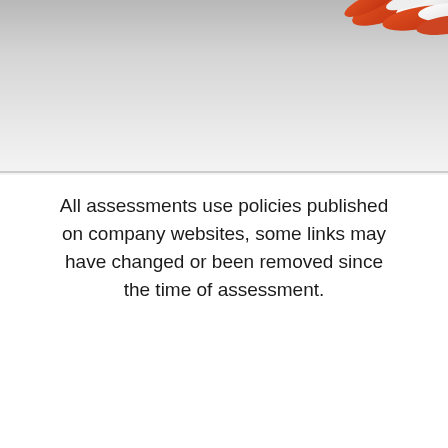[Figure (photo): Partial photo of pills and capsules (red/orange and white) against a light grey/white background, cropped at the top of the page.]
All assessments use policies published on company websites, some links may have changed or been removed since the time of assessment.